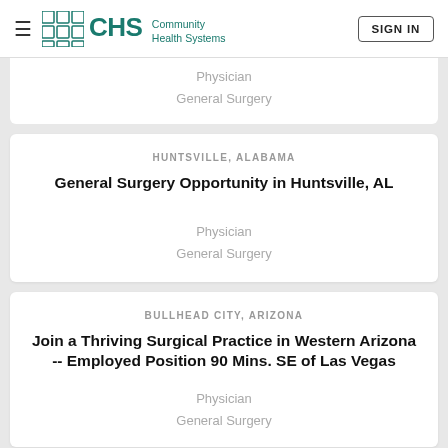CHS Community Health Systems — SIGN IN
Physician
General Surgery
HUNTSVILLE, ALABAMA
General Surgery Opportunity in Huntsville, AL
Physician
General Surgery
BULLHEAD CITY, ARIZONA
Join a Thriving Surgical Practice in Western Arizona -- Employed Position 90 Mins. SE of Las Vegas
Physician
General Surgery